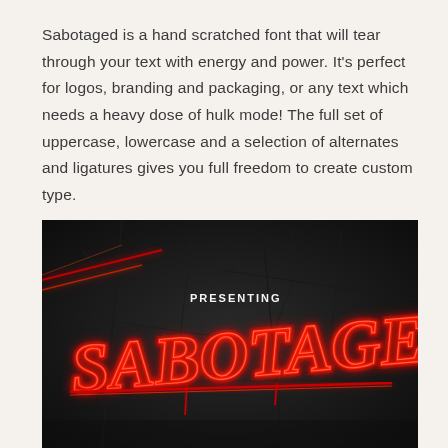Sabotaged is a hand scratched font that will tear through your text with energy and power. It's perfect for logos, branding and packaging, or any text which needs a heavy dose of hulk mode! The full set of uppercase, lowercase and a selection of alternates and ligatures gives you full freedom to create custom type.
[Figure (illustration): Dark grunge image on a cracked stone/asphalt background. Red neon-style graffiti text reads 'SABOTAGED' in large letters. Above it in smaller white hand-drawn text reads 'PRESENTING'. Red light streaks visible in upper left.]